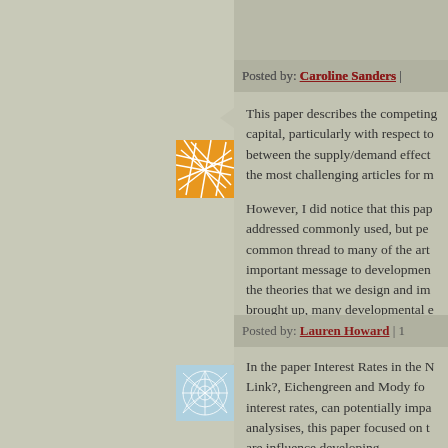Posted by: Caroline Sanders |
[Figure (illustration): Orange square avatar with white intersecting lines pattern]
This paper describes the competing capital, particularly with respect to between the supply/demand effect the most challenging articles for m
However, I did notice that this pap addressed commonly used, but pe common thread to many of the art important message to developmen the theories that we design and im brought up, many developmental e perspective -- one that is very diffe theories would be applied.
Posted by: Lauren Howard | 1
[Figure (illustration): Blue square avatar with white intersecting lines/snowflake pattern]
In the paper Interest Rates in the N Link?, Eichengreen and Mody fo interest rates, can potentially impa analysises, this paper focused on t are influence developing...